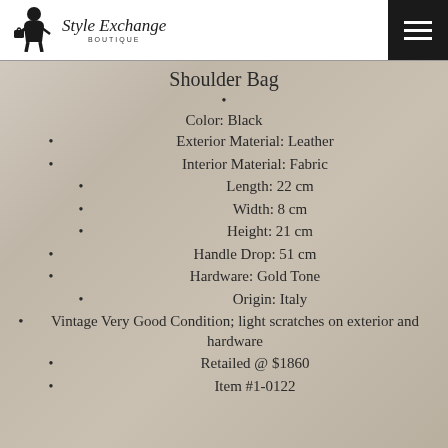[Figure (logo): Style Exchange Boutique logo with woman silhouette icon and script text]
Shoulder Bag
Color: Black
Exterior Material: Leather
Interior Material: Fabric
Length: 22 cm
Width: 8 cm
Height: 21 cm
Handle Drop: 51 cm
Hardware: Gold Tone
Origin: Italy
Vintage Very Good Condition; light scratches on exterior and hardware
Retailed @ $1860
Item #1-0122